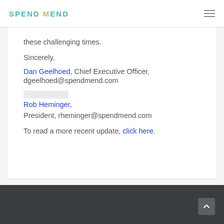SPEND MEND
these challenging times.
Sincerely,
Dan Geelhoed, Chief Executive Officer, dgeelhoed@spendmend.com
Rob Heminger, President, rheminger@spendmend.com
To read a more recent update, click here.